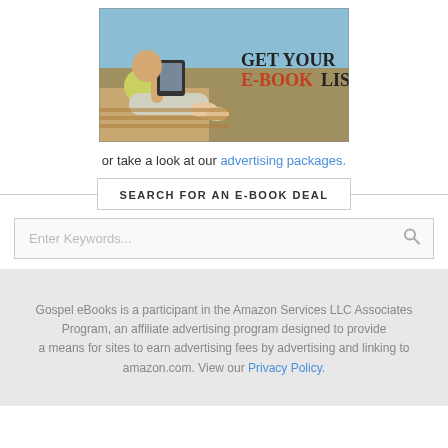[Figure (illustration): Advertisement banner showing a person relaxing on a bench reading an e-reader at the beach, with text 'GET YOUR E-BOOK LISTED' overlaid on the right side]
or take a look at our advertising packages.
SEARCH FOR AN E-BOOK DEAL
Enter Keywords...
Gospel eBooks is a participant in the Amazon Services LLC Associates Program, an affiliate advertising program designed to provide a means for sites to earn advertising fees by advertising and linking to amazon.com. View our Privacy Policy.